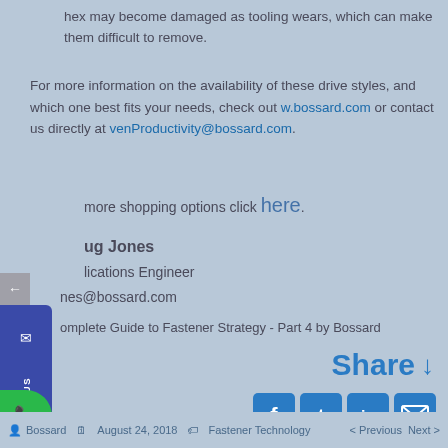hex may become damaged as tooling wears, which can make them difficult to remove.
For more information on the availability of these drive styles, and which one best fits your needs, check out www.bossard.com or contact us directly at ProvenProductivity@bossard.com.
For more shopping options click here.
Doug Jones
Applications Engineer
jones@bossard.com
Complete Guide to Fastener Strategy - Part 4 by Bossard
Share ↓
Bossard   August 24, 2018   Fastener Technology   < Previous   Next >